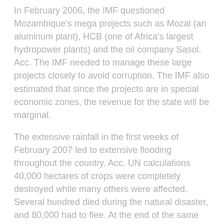In February 2006, the IMF questioned Mozambique's mega projects such as Mozal (an aluminum plant), HCB (one of Africa's largest hydropower plants) and the oil company Sasol. Acc. The IMF needed to manage these large projects closely to avoid corruption. The IMF also estimated that since the projects are in special economic zones, the revenue for the state will be marginal.
The extensive rainfall in the first weeks of February 2007 led to extensive flooding throughout the country. Acc. UN calculations 40,000 hectares of crops were completely destroyed while many others were affected. Several hundred died during the natural disaster, and 80,000 had to flee. At the end of the same month, Hurricane Fabio hit Mozambique with a wind speed of up to 200km/hour. It further aggravated the situation and increased the number of refugees to 100,000. The World Food Organization declared the country a disaster area and asked the world community for disaster relief to alleviate the already serious situation.
In May 2009, Parliament passed a new electoral law based on the experience of the local elections in 2003. In October, Guebuza was re-elected president with 64% of the vote, while his counterpart Afonso Dhlakama from Renamo got 32%.